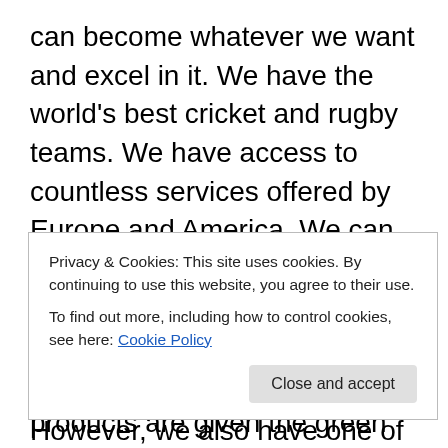can become whatever we want and excel in it. We have the world's best cricket and rugby teams. We have access to countless services offered by Europe and America. We can buy the latest and greatest in technology and some of our leading technology companies are consulted with before products are given the green light for the international market. We have been given the freedom to become insanely rich. So rich that members of the South African public are able to buy Aston Martins and make South Africa the third (or is that second) largest market for Aston's in the world.
Privacy & Cookies: This site uses cookies. By continuing to use this website, you agree to their use.
To find out more, including how to control cookies, see here: Cookie Policy
However, we also have one of the fastest growing rates of